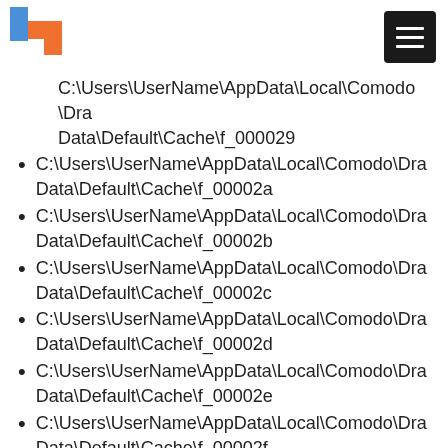[Logo and hamburger menu]
C:\Users\UserName\AppData\Local\Comodo\DraData\Default\Cache\f_000029
C:\Users\UserName\AppData\Local\Comodo\DraData\Default\Cache\f_00002a
C:\Users\UserName\AppData\Local\Comodo\DraData\Default\Cache\f_00002b
C:\Users\UserName\AppData\Local\Comodo\DraData\Default\Cache\f_00002c
C:\Users\UserName\AppData\Local\Comodo\DraData\Default\Cache\f_00002d
C:\Users\UserName\AppData\Local\Comodo\DraData\Default\Cache\f_00002e
C:\Users\UserName\AppData\Local\Comodo\DraData\Default\Cache\f_00002f
C:\Users\UserName\AppData\Local\Comodo\DraData\Default\Cache\f_000030